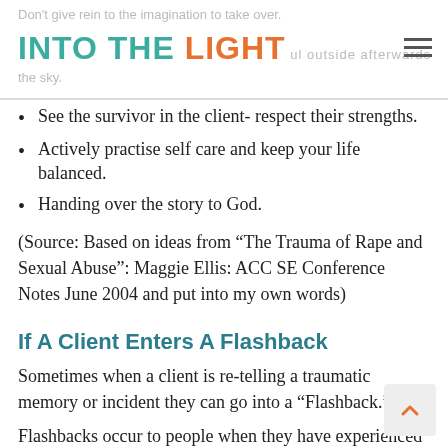INTO THE LIGHT
See the survivor in the client- respect their strengths.
Actively practise self care and keep your life balanced.
Handing over the story to God.
(Source: Based on ideas from “The Trauma of Rape and Sexual Abuse”: Maggie Ellis: ACC SE Conference Notes June 2004 and put into my own words)
If A Client Enters A Flashback
Sometimes when a client is re-telling a traumatic memory or incident they can go into a “Flashback.”
Flashbacks occur to people when they have experienced a traumatic incident and are the memories of that